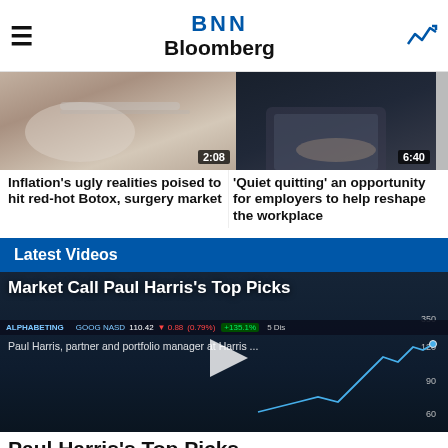BNN Bloomberg
[Figure (screenshot): Video thumbnail of medical/cosmetic surgery scene with duration badge 2:08]
Inflation's ugly realities poised to hit red-hot Botox, surgery market
[Figure (screenshot): Video thumbnail of person typing on laptop in dark setting with duration badge 6:40]
'Quiet quitting' an opportunity for employers to help reshape the workplace
Latest Videos
[Figure (screenshot): Featured video thumbnail: Market Call Paul Harris's Top Picks with stock chart overlay showing GOOG NASD 110.42 down 0.88 (-0.79%) and +135.1% indicator]
Market Call Paul Harris's Top Picks
Paul Harris, partner and portfolio manager at Harris ...
Paul Harris's Top Picks